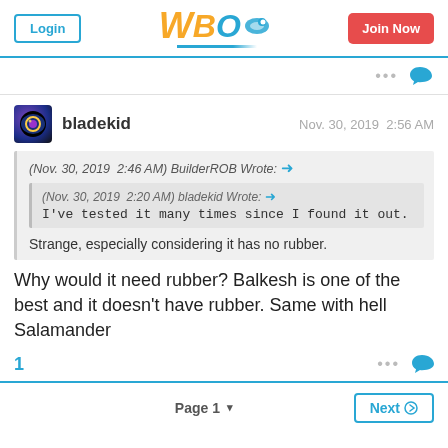Login | WBO | Join Now
... [reply icon]
bladekid  Nov. 30, 2019  2:56 AM
(Nov. 30, 2019  2:46 AM) BuilderROB Wrote: → (Nov. 30, 2019  2:20 AM) bladekid Wrote: → I've tested it many times since I found it out. Strange, especially considering it has no rubber.
Why would it need rubber? Balkesh is one of the best and it doesn't have rubber. Same with hell Salamander
1  ...  [reply]  Page 1 ▾  Next ❯